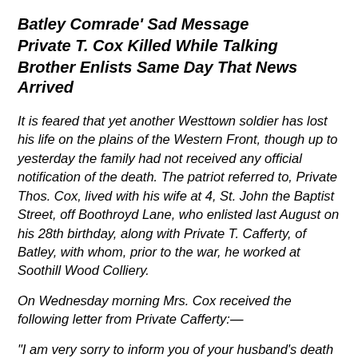Batley Comrade’ Sad Message
Private T. Cox Killed While Talking
Brother Enlists Same Day That News Arrived
It is feared that yet another Westtown soldier has lost his life on the plains of the Western Front, though up to yesterday the family had not received any official notification of the death. The patriot referred to, Private Thos. Cox, lived with his wife at 4, St. John the Baptist Street, off Boothroyd Lane, who enlisted last August on his 28th birthday, along with Private T. Cafferty, of Batley, with whom, prior to the war, he worked at Soothill Wood Colliery.
On Wednesday morning Mrs. Cox received the following letter from Private Cafferty:—
“I am very sorry to inform you of your husband’s death